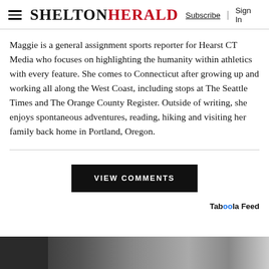SHELTON HERALD — Subscribe | Sign In
Maggie is a general assignment sports reporter for Hearst CT Media who focuses on highlighting the humanity within athletics with every feature. She comes to Connecticut after growing up and working all along the West Coast, including stops at The Seattle Times and The Orange County Register. Outside of writing, she enjoys spontaneous adventures, reading, hiking and visiting her family back home in Portland, Oregon.
VIEW COMMENTS
Taboola Feed
[Figure (photo): Bottom strip showing a partial image of people, appearing as a Taboola Feed advertisement image.]